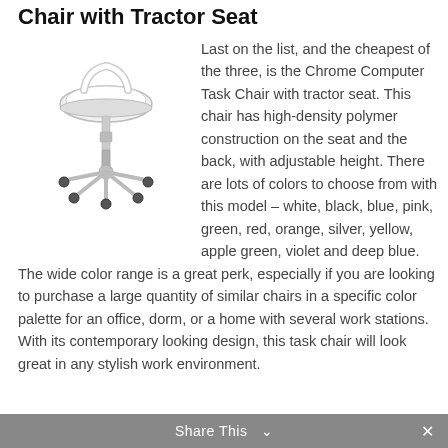Chair with Tractor Seat
[Figure (illustration): A white Chrome Computer Task Chair with tractor seat, chrome base with five casters and adjustable height pole]
Last on the list, and the cheapest of the three, is the Chrome Computer Task Chair with tractor seat. This chair has high-density polymer construction on the seat and the back, with adjustable height. There are lots of colors to choose from with this model – white, black, blue, pink, green, red, orange, silver, yellow, apple green, violet and deep blue. The wide color range is a great perk, especially if you are looking to purchase a large quantity of similar chairs in a specific color palette for an office, dorm, or a home with several work stations. With its contemporary looking design, this task chair will look great in any stylish work environment.
Share This ✓  ×